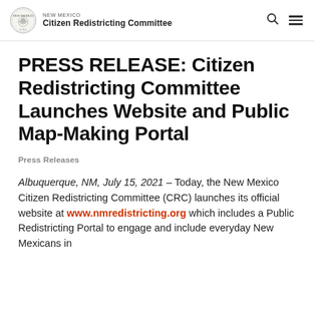NEW MEXICO Citizen Redistricting Committee
PRESS RELEASE: Citizen Redistricting Committee Launches Website and Public Map-Making Portal
Press Releases
Albuquerque, NM, July 15, 2021 – Today, the New Mexico Citizen Redistricting Committee (CRC) launches its official website at www.nmredistricting.org which includes a Public Redistricting Portal to engage and include everyday New Mexicans in